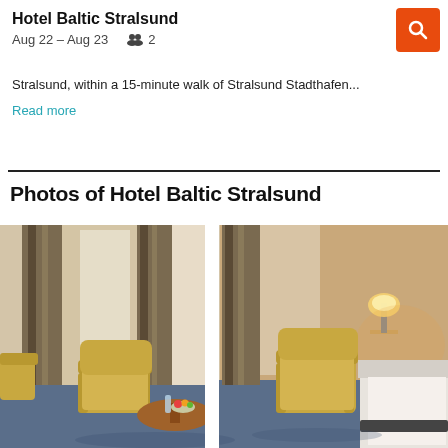Hotel Baltic Stralsund
Aug 22 – Aug 23    👥 2
Stralsund, within a 15-minute walk of Stralsund Stadthafen...
Read more
Photos of Hotel Baltic Stralsund
[Figure (photo): Hotel room interior with yellow armchairs, round coffee table with bowl of fruit and water, blue carpet, striped curtains, lamp, and bed visible on the right side]